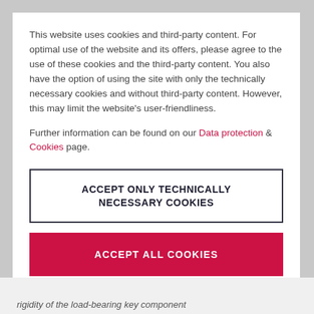This website uses cookies and third-party content. For optimal use of the website and its offers, please agree to the use of these cookies and the third-party content. You also have the option of using the site with only the technically necessary cookies and without third-party content. However, this may limit the website's user-friendliness.
Further information can be found on our Data protection & Cookies page.
ACCEPT ONLY TECHNICALLY NECESSARY COOKIES
ACCEPT ALL COOKIES
rigidity of the load-bearing key component